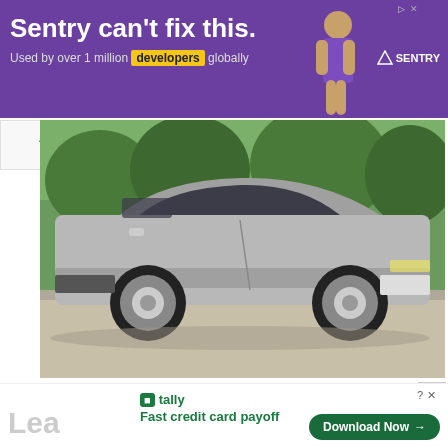[Figure (infographic): Purple Sentry advertisement banner with text 'Sentry can't fix this.' and 'Used by over 1 million developers globally', with a person illustration and Sentry logo on the right]
[Figure (photo): Side profile photo of a silver 1984 Chevrolet Corvette Coupe parked on a road with green trees in background]
Corvette Of The Day: 1984 Chevrolet Corvette Coupe
[Figure (infographic): Bottom advertisement for Tally showing 'Fast credit card payoff' with a Download Now button, and a partially visible 'Lea' text on the left]